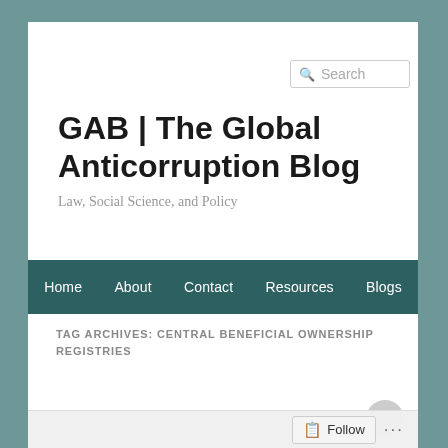[Figure (screenshot): Search box in top right of blog header]
GAB | The Global Anticorruption Blog
Law, Social Science, and Policy
Home   About   Contact   Resources   Blogs
TAG ARCHIVES: CENTRAL BENEFICIAL OWNERSHIP REGISTRIES